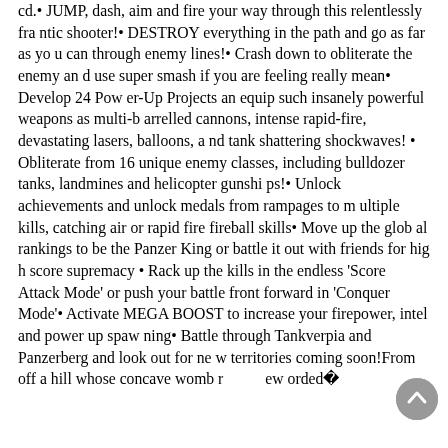cd.• JUMP, dash, aim and fire your way through this relentlessly frantic shooter!• DESTROY everything in the path and go as far as you can through enemy lines!• Crash down to obliterate the enemy and use super smash if you are feeling really mean• Develop 24 Power-Up Projects an equip such insanely powerful weapons as multi-barrelled cannons, intense rapid-fire, devastating lasers, balloons, and tank shattering shockwaves! • Obliterate from 16 unique enemy classes, including bulldozer tanks, landmines and helicopter gunships!• Unlock achievements and unlock medals from rampages to multiple kills, catching air or rapid fire fireball skills• Move up the global rankings to be the Panzer King or battle it out with friends for high score supremacy • Rack up the kills in the endless 'Score Attack Mode' or push your battle front forward in 'Conquer Mode'• Activate MEGA BOOST to increase your firepower, intel and power up spawning• Battle through Tankverpia and Panzerberg and look out for new territories coming soon!From off a hill whose concave womb reworded